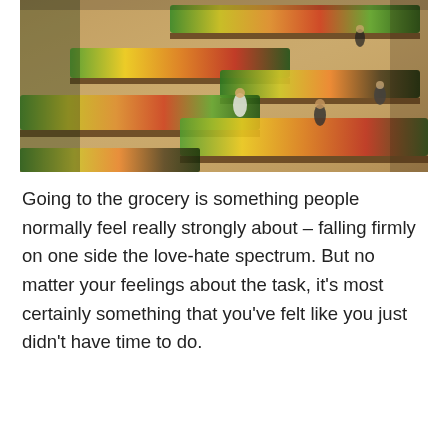[Figure (photo): Aerial/overhead view of a grocery store produce section showing diagonal shelving displays filled with colorful fruits and vegetables. Several shoppers are visible among the aisles. The produce is arranged in vibrant reds, greens, yellows, and oranges.]
Going to the grocery is something people normally feel really strongly about – falling firmly on one side the love-hate spectrum. But no matter your feelings about the task, it's most certainly something that you've felt like you just didn't have time to do.